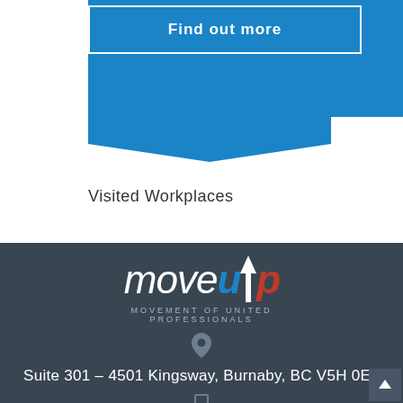[Figure (illustration): Blue banner with 'Find out more' button outlined in white, and a blue chevron/ribbon shape below it]
Visited Workplaces
[Figure (logo): MoveUP logo - Movement of United Professionals, with 'move' in white italic, 'u' in blue bold italic, 'p' in red bold italic with white upward arrow, and tagline 'MOVEMENT OF UNITED PROFESSIONALS' in grey spaced letters]
Suite 301 – 4501 Kingsway, Burnaby, BC V5H 0E5